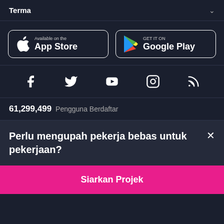Terma
[Figure (logo): App Store and Google Play store download buttons]
[Figure (infographic): Social media icons: Facebook, Twitter, YouTube, Instagram, RSS]
61,299,499 Pengguna Berdaftar
Perlu mengupah pekerja bebas untuk pekerjaan?
Siarkan Projek